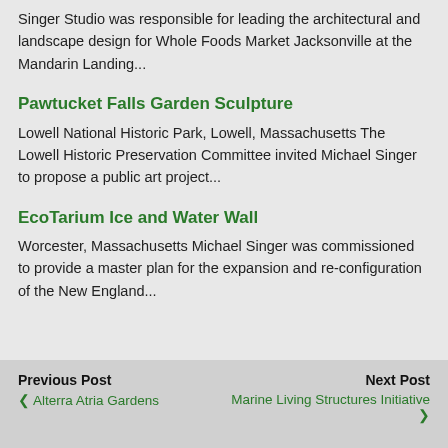Singer Studio was responsible for leading the architectural and landscape design for Whole Foods Market Jacksonville at the Mandarin Landing...
Pawtucket Falls Garden Sculpture
Lowell National Historic Park, Lowell, Massachusetts The Lowell Historic Preservation Committee invited Michael Singer to propose a public art project...
EcoTarium Ice and Water Wall
Worcester, Massachusetts Michael Singer was commissioned to provide a master plan for the expansion and re-configuration of the New England...
Previous Post | Alterra Atria Gardens | Next Post | Marine Living Structures Initiative